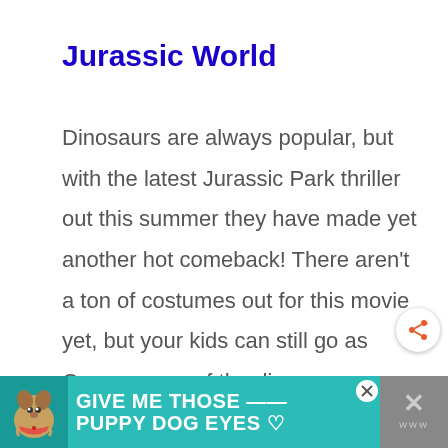Jurassic World
Dinosaurs are always popular, but with the latest Jurassic Park thriller out this summer they have made yet another hot comeback! There aren't a ton of costumes out for this movie yet, but your kids can still go as Owen or one of the dinosaurs.
[Figure (infographic): Advertisement banner with teal background showing a dog and text 'GIVE ME THOSE PUPPY DOG EYES' with a close button and side panel with X mark]